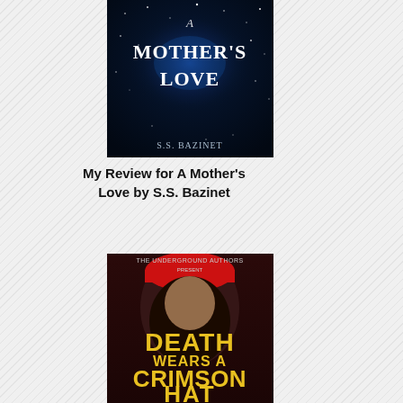[Figure (photo): Book cover for 'A Mother's Love' by S.S. Bazinet — dark blue starry night sky background with white cursive/serif title text]
My Review for A Mother's Love by S.S. Bazinet
[Figure (photo): Book cover for 'Death Wears A Crimson Hat' — Magnolia Bluff Crime Chronicles — shows a woman in a red hat with gold/yellow title text on dark background]
Praise for Death Wears A Crimson Hat
[Figure (photo): Partial book cover visible at bottom of page — shows a colorful toucan bird on a blue/teal background, appears to be a Via Verde Weekend Escapes present publication]